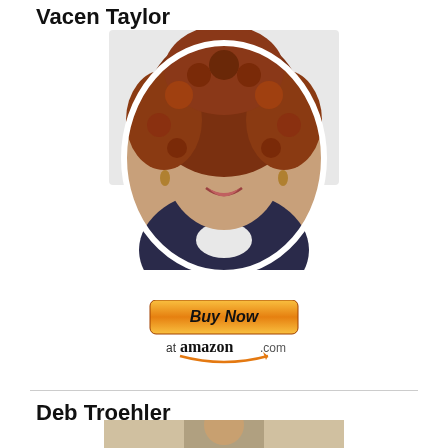Vacen Taylor
[Figure (photo): Circular portrait photo of a woman with curly reddish-brown hair, smiling, wearing a dark jacket with white collar, outdoor greenery background]
[Figure (other): Buy Now at amazon.com button with orange gradient button and Amazon smile logo]
Deb Troehler
[Figure (photo): Partial photo of a person, partially cut off at the bottom of the page]